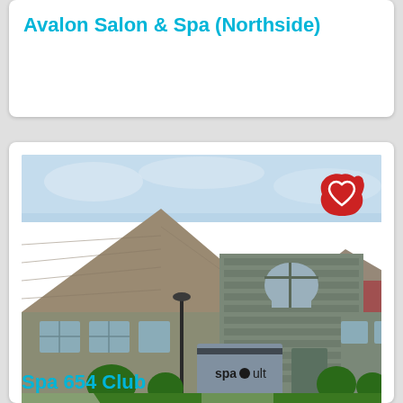Avalon Salon & Spa (Northside)
[Figure (photo): Exterior photo of Spa 654 Club building — a stone-and-tan commercial building with pitched roofline, arched window, green lawn and signage reading 'spa' in front]
Spa 654 Club